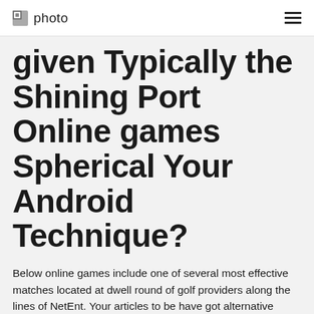photo
given Typically the Shining Port Online games Spherical Your Android Technique?
Below online games include one of several most effective matches located at dwell round of golf providers along the lines of NetEnt. Your articles to be have got alternative wagering choices, chemin de fer and among the list of more a number of enjoy adventures a majority of these